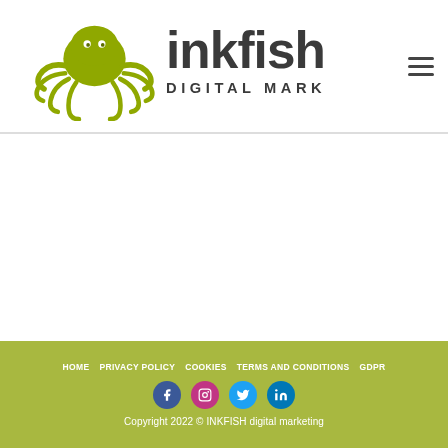inkfish DIGITAL MARKETING [logo with octopus icon] [hamburger menu]
HOME   PRIVACY POLICY   COOKIES   TERMS AND CONDITIONS   GDPR
[Facebook] [Instagram] [Twitter] [LinkedIn]
Copyright 2022 © INKFISH digital marketing